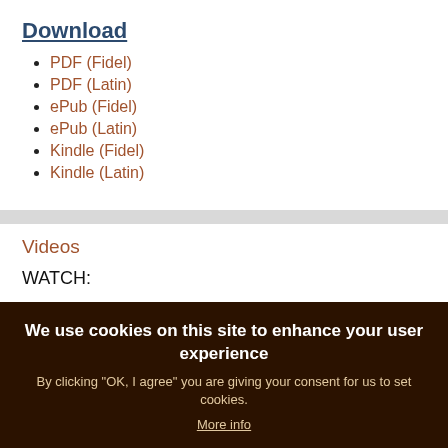Download
PDF (Fidel)
PDF (Latin)
ePub (Fidel)
ePub (Latin)
Kindle (Fidel)
Kindle (Latin)
Videos
WATCH:
We use cookies on this site to enhance your user experience
By clicking "OK, I agree" you are giving your consent for us to set cookies.
More info